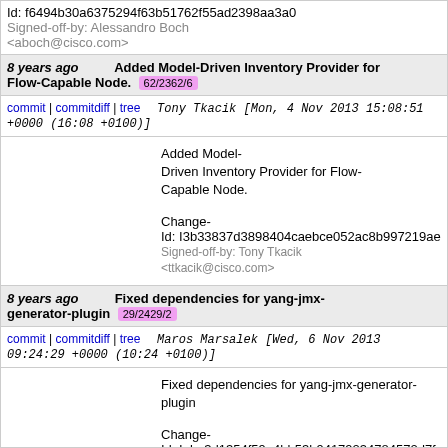Id: f6494b30a6375294f63b51762f55ad2398aa3ac
Signed-off-by: Alessandro Boch <aboch@cisco.com>
8 years ago  Added Model-Driven Inventory Provider for Flow-Capable Node. 62/2362/6
commit | commitdiff | tree   Tony Tkacik [Mon, 4 Nov 2013 15:08:51 +0000 (16:08 +0100)]
Added Model-Driven Inventory Provider for Flow-Capable Node.

Change-Id: I3b33837d3898404caebce052ac8b997219aed
Signed-off-by: Tony Tkacik <ttkacik@cisco.com>
8 years ago  Fixed dependencies for yang-jmx-generator-plugin 29/2429/2
commit | commitdiff | tree   Maros Marsalek [Wed, 6 Nov 2013 09:24:29 +0000 (10:24 +0100)]
Fixed dependencies for yang-jmx-generator-plugin

Change-Id: Iabe3d1354f59a4bb53b94179234784572d7fa6
Signed-off-by: Maros Marsalek